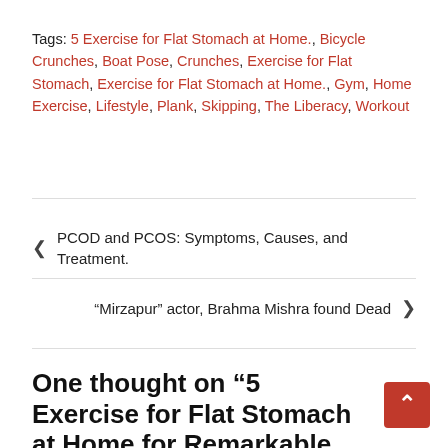Tags: 5 Exercise for Flat Stomach at Home., Bicycle Crunches, Boat Pose, Crunches, Exercise for Flat Stomach, Exercise for Flat Stomach at Home., Gym, Home Exercise, Lifestyle, Plank, Skipping, The Liberacy, Workout
< PCOD and PCOS: Symptoms, Causes, and Treatment.
“Mirzapur” actor, Brahma Mishra found Dead >
One thought on “5 Exercise for Flat Stomach at Home for Remarkable Results”